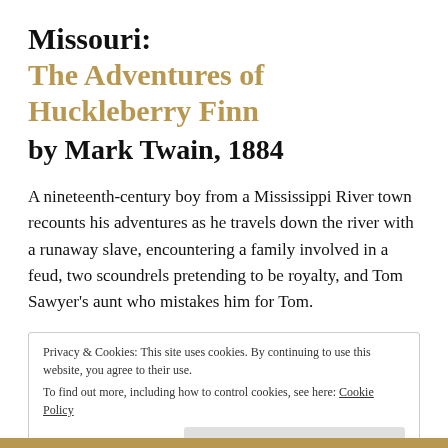Missouri:
The Adventures of Huckleberry Finn
by Mark Twain, 1884
A nineteenth-century boy from a Mississippi River town recounts his adventures as he travels down the river with a runaway slave, encountering a family involved in a feud, two scoundrels pretending to be royalty, and Tom Sawyer's aunt who mistakes him for Tom.
Privacy & Cookies: This site uses cookies. By continuing to use this website, you agree to their use.
To find out more, including how to control cookies, see here: Cookie Policy
Close and accept